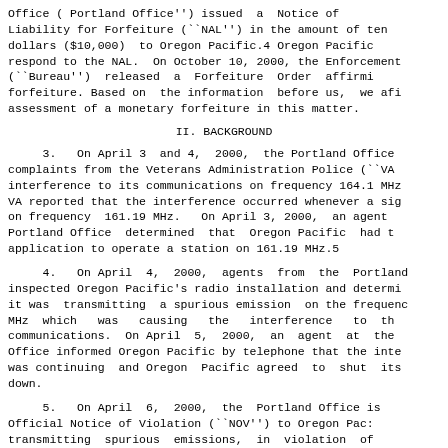Office ( Portland Office'') issued a Notice of Liability for Forfeiture (``NAL'') in the amount of ten dollars ($10,000) to Oregon Pacific.4 Oregon Pacific respond to the NAL. On October 10, 2000, the Enforcement (``Bureau'') released a Forfeiture Order affirmi forfeiture. Based on the information before us, we afi assessment of a monetary forfeiture in this matter.
II.  BACKGROUND
3.  On April 3 and 4, 2000, the Portland Office complaints from the Veterans Administration Police (``VA interference to its communications on frequency 164.1 MHz VA reported that the interference occurred whenever a sig on frequency 161.19 MHz.  On April 3, 2000, an agent Portland Office determined that Oregon Pacific had t application to operate a station on 161.19 MHz.5
4.  On April 4, 2000, agents from the Portland inspected Oregon Pacific's radio installation and determi it was transmitting a spurious emission on the frequenc MHz which was causing the interference to th communications. On April 5, 2000, an agent at the Office informed Oregon Pacific by telephone that the inte was continuing and Oregon Pacific agreed to shut its down.
5.  On April 6, 2000, the Portland Office is Official Notice of Violation (``NOV'') to Oregon Pac: transmitting spurious emissions, in violation of 0f ficicilte fetting fenetecting felenment fe